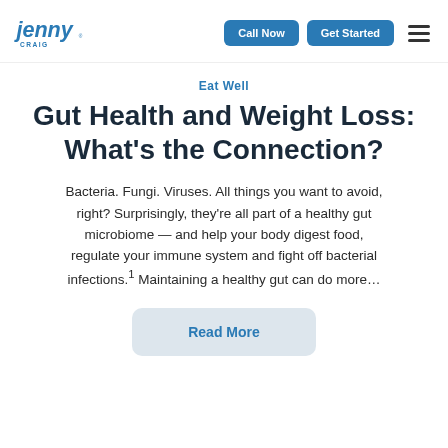Jenny Craig | Call Now | Get Started
Eat Well
Gut Health and Weight Loss: What's the Connection?
Bacteria. Fungi. Viruses. All things you want to avoid, right? Surprisingly, they're all part of a healthy gut microbiome — and help your body digest food, regulate your immune system and fight off bacterial infections.1 Maintaining a healthy gut can do more…
Read More